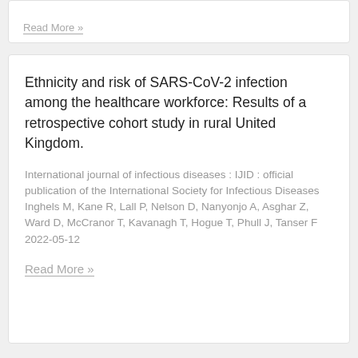Read More »
Ethnicity and risk of SARS-CoV-2 infection among the healthcare workforce: Results of a retrospective cohort study in rural United Kingdom.
International journal of infectious diseases : IJID : official publication of the International Society for Infectious Diseases
Inghels M, Kane R, Lall P, Nelson D, Nanyonjo A, Asghar Z, Ward D, McCranor T, Kavanagh T, Hogue T, Phull J, Tanser F
2022-05-12
Read More »